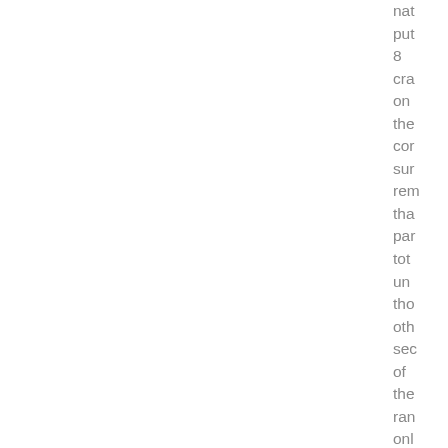nat put 8 cra on the cor sur rem tha par tota unc tho oth sec of the ran onl nee sor cle 4 cra